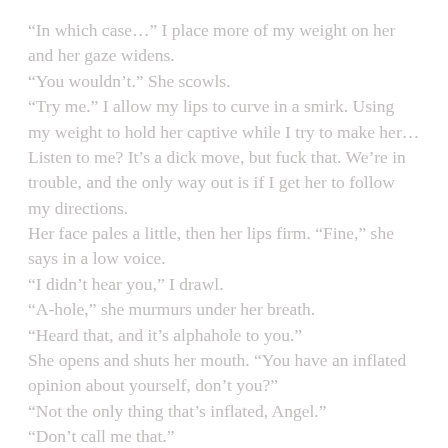“In which case…” I place more of my weight on her and her gaze widens. “You wouldn’t.” She scowls. “Try me.” I allow my lips to curve in a smirk. Using my weight to hold her captive while I try to make her… Listen to me? It’s a dick move, but fuck that. We’re in trouble, and the only way out is if I get her to follow my directions. Her face pales a little, then her lips firm. “Fine,” she says in a low voice. “I didn’t hear you,” I drawl. “A-hole,” she murmurs under her breath. “Heard that, and it’s alphahole to you.” She opens and shuts her mouth. “You have an inflated opinion about yourself, don’t you?” “Not the only thing that’s inflated, Angel.” “Don’t call me that.”